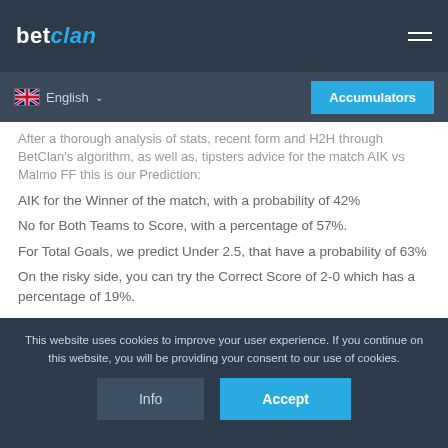betclan
English
Accumulators
After a thorough analysis of stats, recent form and H2H through BetClan's algorithm, as well as, tipsters advice for the match AIK vs Malmo FF this is our Prediction:
AIK for the Winner of the match, with a probability of 42%
No for Both Teams to Score, with a percentage of 57%.
For Total Goals, we predict Under 2.5, that have a probability of 63%
On the risky side, you can try the Correct Score of 2-0 which has a percentage of 19%.
This website uses cookies to improve your user experience. If you continue on this website, you will be providing your consent to our use of cookies. Info Accept